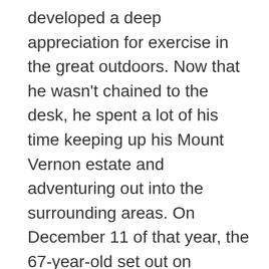developed a deep appreciation for exercise in the great outdoors. Now that he wasn't chained to the desk, he spent a lot of his time keeping up his Mount Vernon estate and adventuring out into the surrounding areas. On December 11 of that year, the 67-year-old set out on horseback to oversee his farm despite the bitter cold and light hail. By the time Washington returned home for a late lunch, he was drenched in nearly freezing water but decided not to change out of his clothes because he didn't want to keep his company waiting, knowing that they would not eat without him. While considerate, this turned out to be a pretty bad decision.